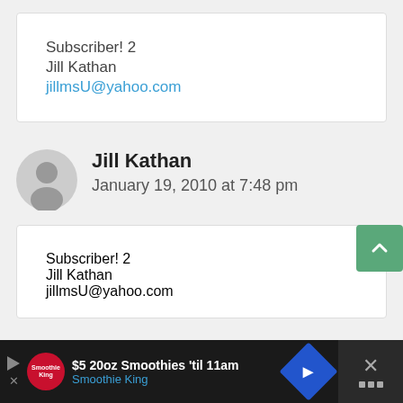Subscriber! 2
Jill Kathan
jillmsU@yahoo.com
Jill Kathan
January 19, 2010 at 7:48 pm
Subscriber! 2
Jill Kathan
jillmsU@yahoo.com
$5 20oz Smoothies 'til 11am
Smoothie King